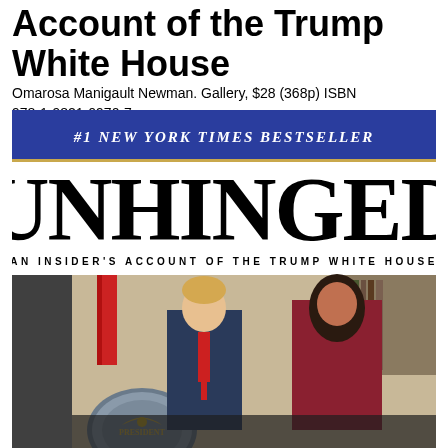Account of the Trump White House
Omarosa Manigault Newman. Gallery, $28 (368p) ISBN 978-1-9821-0970-7
[Figure (photo): Book cover for UNHINGED: An Insider's Account of the Trump White House by Omarosa Manigault Newman. Shows blue banner with #1 New York Times Bestseller, large title UNHINGED, subtitle AN INSIDER'S ACCOUNT OF THE TRUMP WHITE HOUSE, and a photo of Donald Trump and Omarosa in the Oval Office with the Presidential seal visible.]